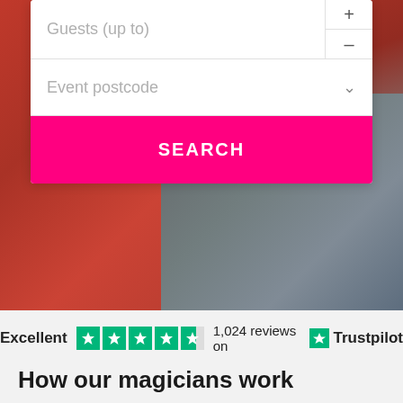[Figure (screenshot): Website hero section with search form over red/dark fabric background. Form contains guest counter input with +/- stepper, event postcode dropdown, and a pink SEARCH button.]
Guests (up to)
Event postcode
SEARCH
Excellent  1,024 reviews on  Trustpilot
How our magicians work